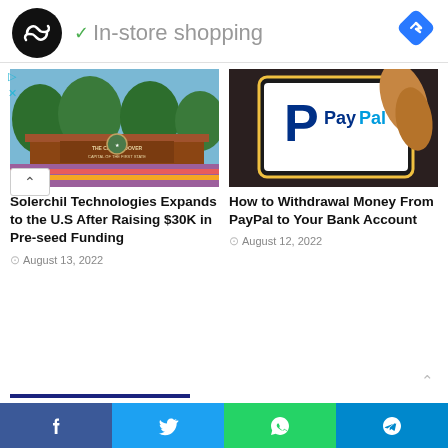[Figure (logo): Ad banner with black circular logo with infinity-like symbol, green checkmark, 'In-store shopping' text, and blue diamond navigation icon]
[Figure (photo): Photo of The City of Dover sign with flowers and trees]
Solerchil Technologies Expands to the U.S After Raising $30K in Pre-seed Funding
August 13, 2022
[Figure (photo): Photo of a hand holding a smartphone displaying the PayPal logo]
How to Withdrawal Money From PayPal to Your Bank Account
August 12, 2022